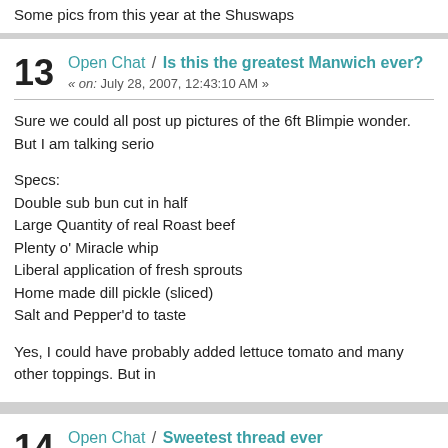Some pics from this year at the Shuswaps
13  Open Chat / Is this the greatest Manwich ever?
« on: July 28, 2007, 12:43:10 AM »
Sure we could all post up pictures of the 6ft Blimpie wonder. But I am talking serio
Specs:
Double sub bun cut in half
Large Quantity of real Roast beef
Plenty o' Miracle whip
Liberal application of fresh sprouts
Home made dill pickle (sliced)
Salt and Pepper'd to taste
Yes, I could have probably added lettuce tomato and many other toppings. But in
14  Open Chat / Sweetest thread ever
« on: June 13, 2007, 02:17:12 AM »
I was doing some random web browsing this evening when I stumbled upon this.